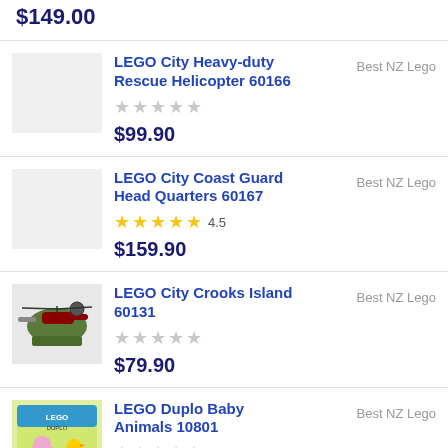$149.00
LEGO City Heavy-duty Rescue Helicopter 60166 | Best NZ Lego | 0 stars | $99.90
LEGO City Coast Guard Head Quarters 60167 | Best NZ Lego | 4.5 stars | $159.90
LEGO City Crooks Island 60131 | Best NZ Lego | 0 stars | $79.90
LEGO Duplo Baby Animals 10801 | Best NZ Lego | 0 stars